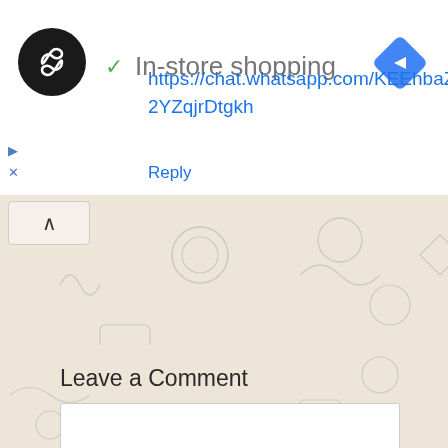[Figure (logo): Black circular avatar with white double-arrow/infinity loop icon]
✓ In-store shopping
[Figure (logo): Blue diamond-shaped navigation/directions icon in top right]
[Figure (screenshot): WhatsApp-style beige patterned background with doodle icons]
https://chat.whatsapp.com/KEEhbaZzeZ42YZqjrDtgkh
Reply
Leave a Comment